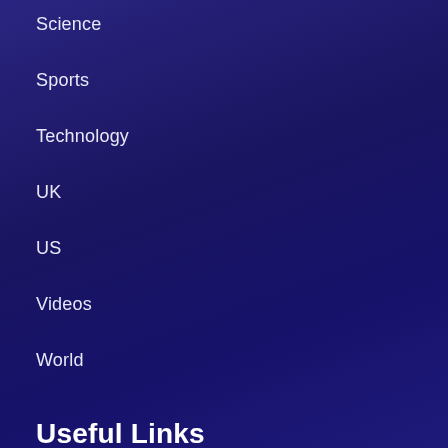Science
Sports
Technology
UK
US
Videos
World
Useful Links
DMCA / Copyrights Disclaimer
Terms and Conditions
Whitelist Us